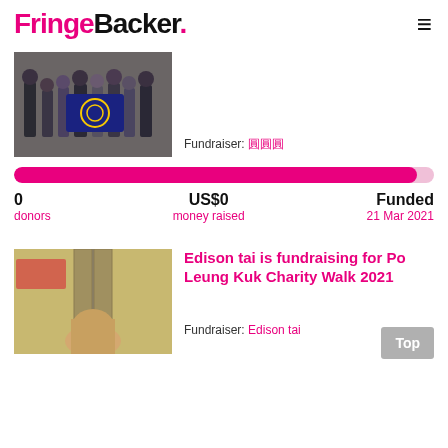FringeBacker.
[Figure (photo): Group photo of people standing in front of a Rotary Club banner]
Fundraiser: 圓圓圓
[Figure (other): Pink progress bar, nearly full, on a light pink track]
0 donors   US$0 money raised   Funded 21 Mar 2021
[Figure (photo): Person standing in a doorway with colorful surroundings]
Edison tai is fundraising for Po Leung Kuk Charity Walk 2021
Fundraiser: Edison tai